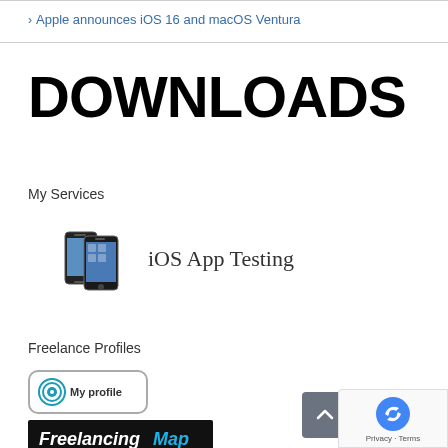> Apple announces iOS 16 and macOS Ventura
DOWNLOADS
My Services
[Figure (illustration): Two iPhones icon representing iOS App Testing service, next to the text 'iOS App Testing']
Freelance Profiles
[Figure (logo): Odesk/Upwork circular logo badge with 'My profile' text inside a rounded rectangle border]
[Figure (logo): FreelancingMap logo on black background with white italic text]